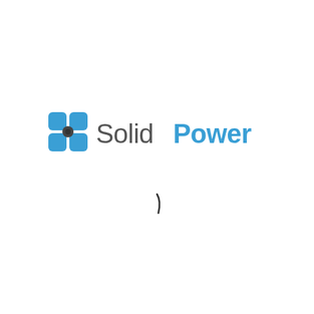[Figure (logo): Solid Power company logo with blue geometric icon (four curved petals around a central circle forming a square pinwheel shape) and the text 'Solid' in gray and 'Power' in blue, followed by a small curved comma/stroke below]
[Figure (other): A small curved calligraphic comma or apostrophe stroke in dark gray/black below the Solid Power logo]